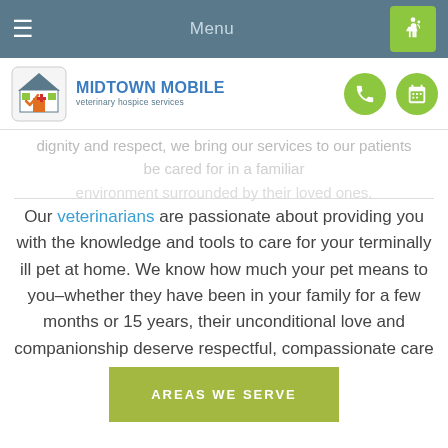≡  Menu  ♿
[Figure (logo): Midtown Mobile Veterinary Hospice Services logo with house icon and phone/calendar icons]
dignity and respect, we bring our services to our patients … be cared for in a familiar environment surrounded by their loved ones.
Our veterinarians are passionate about providing you with the knowledge and tools to care for your terminally ill pet at home. We know how much your pet means to you–whether they have been in your family for a few months or 15 years, their unconditional love and companionship deserve respectful, compassionate care in return.
AREAS WE SERVE